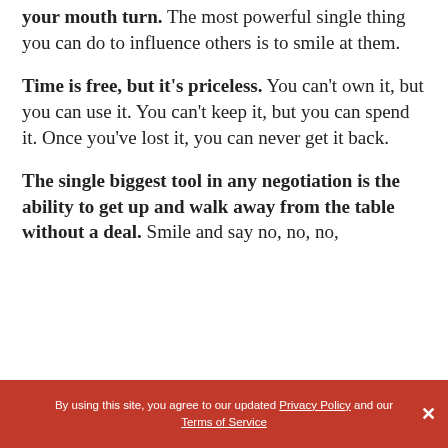your mouth turn. The most powerful single thing you can do to influence others is to smile at them.
Time is free, but it's priceless. You can't own it, but you can use it. You can't keep it, but you can spend it. Once you've lost it, you can never get it back.
The single biggest tool in any negotiation is the ability to get up and walk away from the table without a deal. Smile and say no, no, no,
By using this site, you agree to our updated Privacy Policy and our Terms of Service